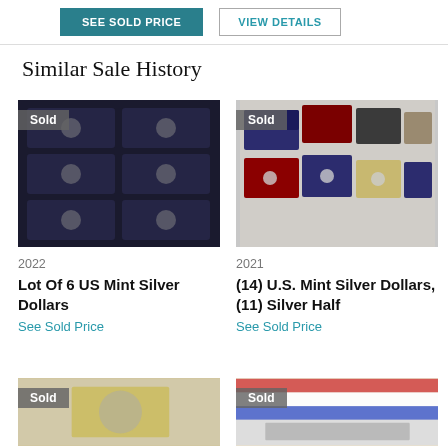[Figure (screenshot): Two buttons: 'SEE SOLD PRICE' (teal/dark background) and 'VIEW DETAILS' (outlined)]
Similar Sale History
[Figure (photo): Photo of 6 dark navy blue US Mint coin boxes arranged in a 2x3 grid with 'Sold' badge]
[Figure (photo): Photo of multiple US Mint silver dollar coin sets in open display cases with 'Sold' badge]
2022
Lot Of 6 US Mint Silver Dollars
See Sold Price
2021
(14) U.S. Mint Silver Dollars, (11) Silver Half
See Sold Price
[Figure (photo): Partial photo of a coin item with 'Sold' badge, light beige background]
[Figure (photo): Partial photo of a coin item with 'Sold' badge, red/white/blue striped packaging]